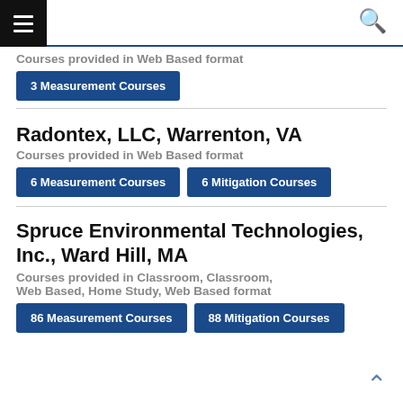Courses provided in Web Based format
3 Measurement Courses
Radontex, LLC, Warrenton, VA
Courses provided in Web Based format
6 Measurement Courses  6 Mitigation Courses
Spruce Environmental Technologies, Inc., Ward Hill, MA
Courses provided in Classroom, Classroom, Web Based, Home Study, Web Based format
86 Measurement Courses  88 Mitigation Courses